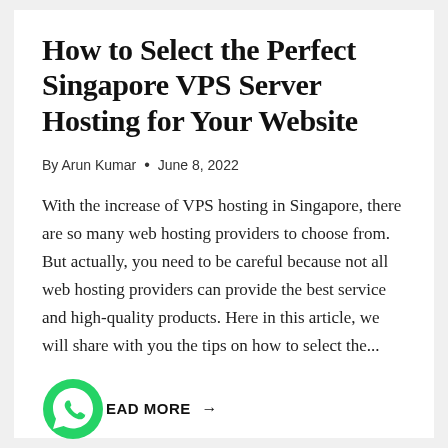How to Select the Perfect Singapore VPS Server Hosting for Your Website
By Arun Kumar • June 8, 2022
With the increase of VPS hosting in Singapore, there are so many web hosting providers to choose from. But actually, you need to be careful because not all web hosting providers can provide the best service and high-quality products. Here in this article, we will share with you the tips on how to select the...
READ MORE →